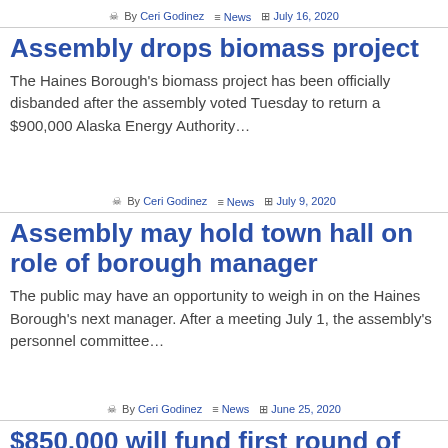By Ceri Godinez  News  July 16, 2020
Assembly drops biomass project
The Haines Borough's biomass project has been officially disbanded after the assembly voted Tuesday to return a $900,000 Alaska Energy Authority…
By Ceri Godinez  News  July 9, 2020
Assembly may hold town hall on role of borough manager
The public may have an opportunity to weigh in on the Haines Borough's next manager. After a meeting July 1, the assembly's personnel committee…
By Ceri Godinez  News  June 25, 2020
$850,000 will fund first round of CARES Act